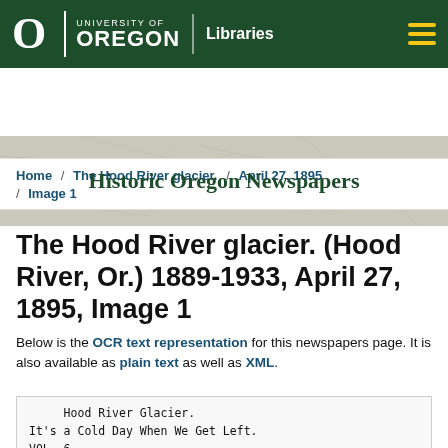University of Oregon Libraries
[Figure (illustration): Historic Oregon Newspapers banner with old map background]
Home / The Hood River glacier. / April 27, 1895 / Image 1
The Hood River glacier. (Hood River, Or.) 1889-1933, April 27, 1895, Image 1
Below is the OCR text representation for this newspapers page. It is also available as plain text as well as XML.
Hood River Glacier.
It's a Cold Day When We Get Left.
VOL. 6.
HOOD RIVER, OREGON, SATURDAY, APRIL 27, 1895.